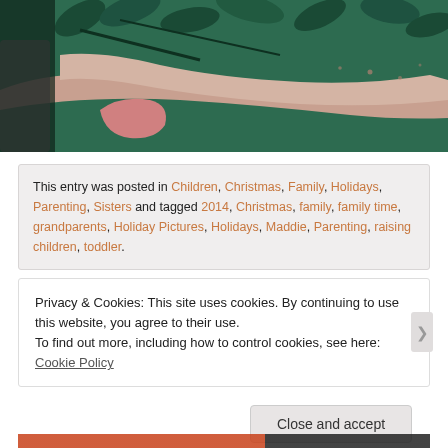[Figure (photo): Close-up photo of arms/hands against a teal/green floral background, partial view of people holding hands or close together]
This entry was posted in Children, Christmas, Family, Holidays, Parenting, Sisters and tagged 2014, Christmas, family, family time, grandparents, Holiday Pictures, Holidays, Maddie, Parenting, raising children, toddler.
Privacy & Cookies: This site uses cookies. By continuing to use this website, you agree to their use.
To find out more, including how to control cookies, see here: Cookie Policy
Close and accept